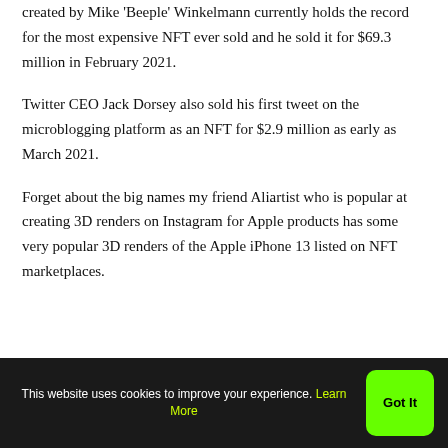created by Mike 'Beeple' Winkelmann currently holds the record for the most expensive NFT ever sold and he sold it for $69.3 million in February 2021.
Twitter CEO Jack Dorsey also sold his first tweet on the microblogging platform as an NFT for $2.9 million as early as March 2021.
Forget about the big names my friend Aliartist who is popular at creating 3D renders on Instagram for Apple products has some very popular 3D renders of the Apple iPhone 13 listed on NFT marketplaces.
This website uses cookies to improve your experience. Learn More